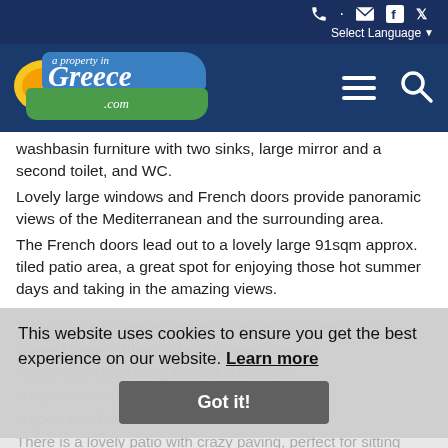a property in Greece .com - navigation header with social icons and language selector
washbasin furniture with two sinks, large mirror and a second toilet, and WC.
Lovely large windows and French doors provide panoramic views of the Mediterranean and the surrounding area.
The French doors lead out to a lovely large 91sqm approx. tiled patio area, a great spot for enjoying those hot summer days and taking in the amazing views.
Through a separate entrance you enter the guest house
Guest House - Floor size of 50sqm approx.
A cosy open plan living room/ kitchen area
A bathroom with shower, and
A good size bedroom with built-in wardrobe
There is a lovely patio with crazy paving, perfect for sitting outside
This website uses cookies to ensure you get the best experience on our website. Learn more
Got it!